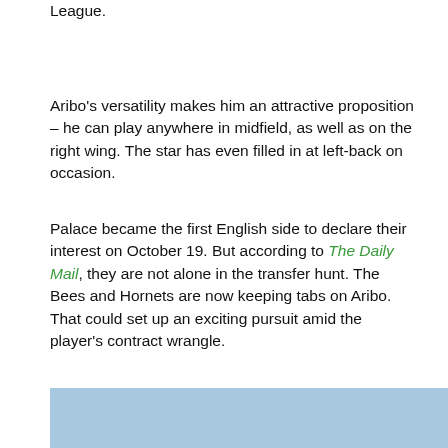League.
Aribo's versatility makes him an attractive proposition – he can play anywhere in midfield, as well as on the right wing. The star has even filled in at left-back on occasion.
Palace became the first English side to declare their interest on October 19. But according to The Daily Mail, they are not alone in the transfer hunt. The Bees and Hornets are now keeping tabs on Aribo. That could set up an exciting pursuit amid the player's contract wrangle.
[Figure (photo): Rangers football players in blue 32Red-sponsored kits celebrating on a football pitch. Three main players visible celebrating, with opposition player in yellow kit and another Rangers player in the background.]